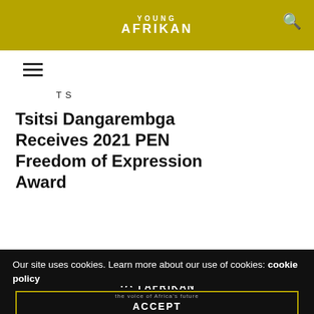YOUNG AFRIKAN
T S
Tsitsi Dangarembga Receives 2021 PEN Freedom of Expression Award
[Figure (logo): Young Afrikan logo in white on dark footer background with tagline 'the voice of Africa's future']
Our site uses cookies. Learn more about our use of cookies: cookie policy
ACCEPT